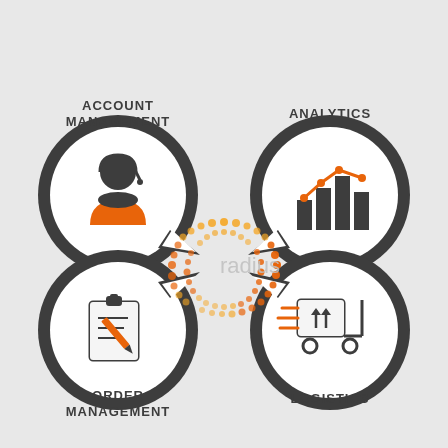[Figure (infographic): Infographic showing four service bubbles (speech-bubble circles) around a central Radius logo made of orange dots. Top-left: Account Management with customer service person icon. Top-right: Analytics with bar chart and line chart icon. Bottom-left: Order Management with clipboard and pen icon. Bottom-right: Logistics with wheeled cart/trolley icon. Center has the Radius dotted circle logo with text 'radius'.]